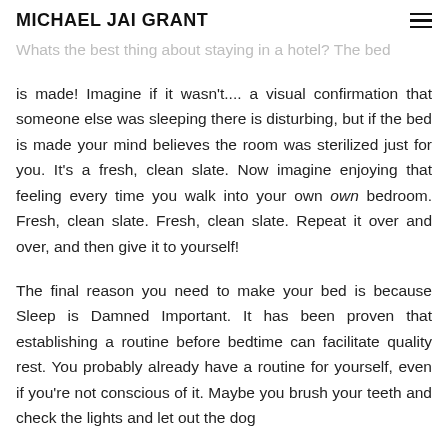MICHAEL JAI GRANT
Whats the best thing about staying in a hotel?  The bed is made!  Imagine if it wasn't.... a visual confirmation that someone else was sleeping there is disturbing, but if the bed is made your mind believes the room was sterilized just for you.  It's a fresh, clean slate.  Now imagine enjoying that feeling every time you walk into your own bedroom. Fresh, clean slate.  Fresh, clean slate.  Repeat it over and over, and then give it to yourself!
The final reason you need to make your bed is because Sleep is Damned Important.  It has been proven that establishing a routine before bedtime can facilitate quality rest.  You probably already have a routine for yourself, even if you're not conscious of it.  Maybe you brush your teeth and check the lights and let out the dog